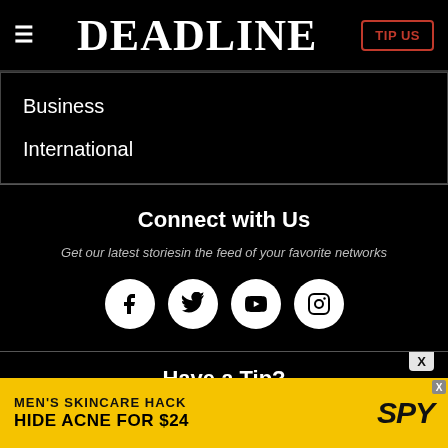DEADLINE — TIP US
Business
International
Connect with Us
Get our latest storiesin the feed of your favorite networks
[Figure (illustration): Four social media icons: Facebook, Twitter, YouTube, Instagram — white circles on black background]
Have a Tip?
[Figure (illustration): Advertisement banner: MEN'S SKINCARE HACK — HIDE ACNE FOR $24 with SPY logo on yellow background]